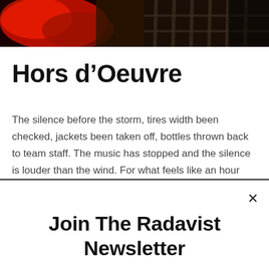[Figure (photo): Dark photo banner showing blurred red and dark tones, appears to be a cycling race start with cage/barrier elements visible on the right side.]
Hors d’Oeuvre
The silence before the storm, tires width been checked, jackets been taken off, bottles thrown back to team staff. The music has stopped and the silence is louder than the wind. For what feels like an hour everyone has clipped in and waits for the gunshot. Photographers rush and squeeze to get their shot.
Join The Radavist Newsletter